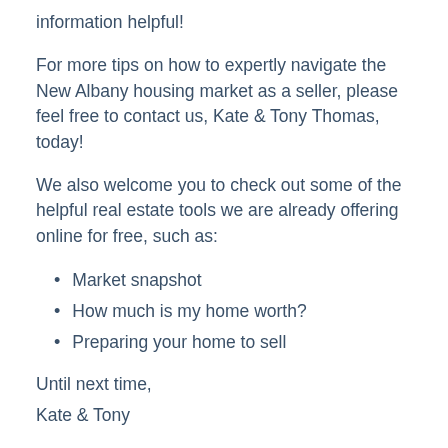information helpful!
For more tips on how to expertly navigate the New Albany housing market as a seller, please feel free to contact us, Kate & Tony Thomas, today!
We also welcome you to check out some of the helpful real estate tools we are already offering online for free, such as:
Market snapshot
How much is my home worth?
Preparing your home to sell
Until next time,
Kate & Tony